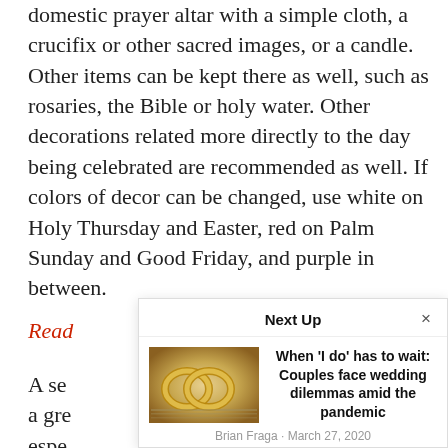domestic prayer altar with a simple cloth, a crucifix or other sacred images, or a candle. Other items can be kept there as well, such as rosaries, the Bible or holy water. Other decorations related more directly to the day being celebrated are recommended as well. If colors of decor can be changed, use white on Holy Thursday and Easter, red on Palm Sunday and Good Friday, and purple in between.
Read
A se... a gre... espe... migh...
[Figure (other): Next Up popup overlay showing article: 'When ‘I do’ has to wait: Couples face wedding dilemmas amid the pandemic' by Brian Fraga, March 27, 2020, with a photo of two gold wedding rings on an open book.]